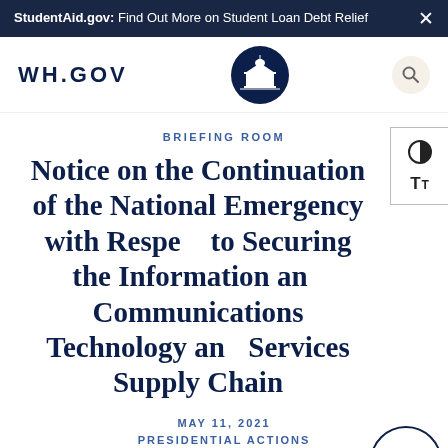StudentAid.gov: Find Out More on Student Loan Debt Relief
[Figure (logo): WH.GOV White House navigation bar with White House seal logo and search icon]
BRIEFING ROOM
Notice on the Continuation of the National Emergency with Respect to Securing the Information and Communications Technology and Services Supply Chain
MAY 11, 2021
PRESIDENTIAL ACTIONS